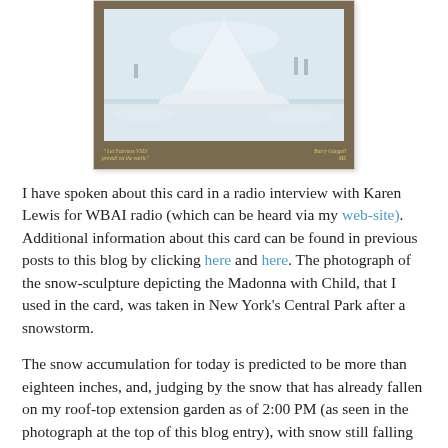[Figure (photo): A greeting card with a brown/tan border showing a snow scene photograph (snow sculpture depicting Madonna with Child) with handwritten yellow text at the bottom reading 'Let Fairness VSD/ prevail on the earth' on the left and 'Barry Gangell/ MS' on the right.]
I have spoken about this card in a radio interview with Karen Lewis for WBAI radio (which can be heard via my web-site). Additional information about this card can be found in previous posts to this blog by clicking here and here. The photograph of the snow-sculpture depicting the Madonna with Child, that I used in the card, was taken in New York's Central Park after a snowstorm.
The snow accumulation for today is predicted to be more than eighteen inches, and, judging by the snow that has already fallen on my roof-top extension garden as of 2:00 PM (as seen in the photograph at the top of this blog entry), with snow still falling steadily, that prediction will come to pass. This heavy snowfall will probably cause many snow artists to build snow sculptures in Central Park...